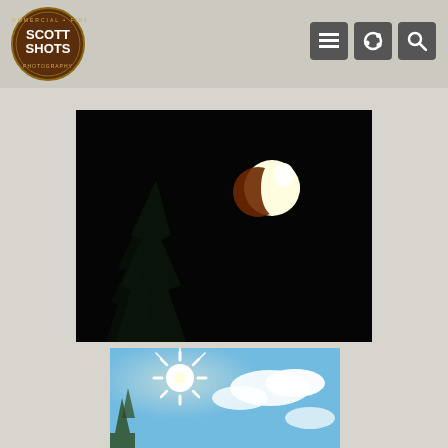Scott Shots Photography
[Figure (photo): Lunar eclipse photograph against black night sky with partially shadowed moon and dark tree silhouette]
Lunar Eclipse on Winter Solstice 2.jpg
[Figure (photo): Sun with starburst effect against bright blue sky with clouds and treetop silhouette]